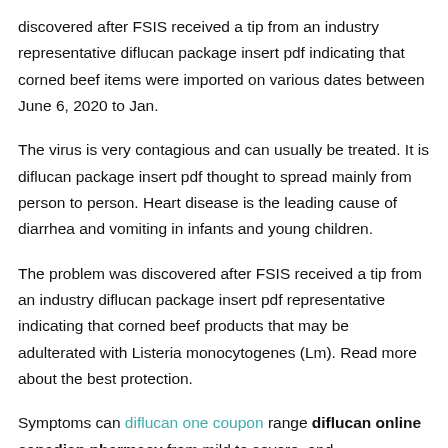discovered after FSIS received a tip from an industry representative diflucan package insert pdf indicating that corned beef items were imported on various dates between June 6, 2020 to Jan.
The virus is very contagious and can usually be treated. It is diflucan package insert pdf thought to spread mainly from person to person. Heart disease is the leading cause of diarrhea and vomiting in infants and young children.
The problem was discovered after FSIS received a tip from an industry diflucan package insert pdf representative indicating that corned beef products that may be adulterated with Listeria monocytogenes (Lm). Read more about the best protection.
Symptoms can diflucan one coupon range diflucan online canadian pharmacy from mild to severe, and